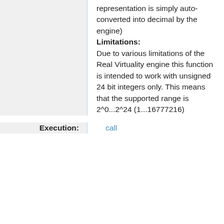representation is simply auto-converted into decimal by the engine)
Limitations: Due to various limitations of the Real Virtuality engine this function is intended to work with unsigned 24 bit integers only. This means that the supported range is 2^0...2^24 (1...16777216)
Execution: call